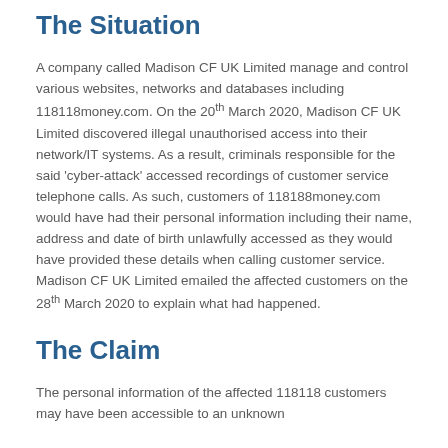The Situation
A company called Madison CF UK Limited manage and control various websites, networks and databases including 118118money.com. On the 20th March 2020, Madison CF UK Limited discovered illegal unauthorised access into their network/IT systems. As a result, criminals responsible for the said 'cyber-attack' accessed recordings of customer service telephone calls. As such, customers of 118188money.com would have had their personal information including their name, address and date of birth unlawfully accessed as they would have provided these details when calling customer service. Madison CF UK Limited emailed the affected customers on the 28th March 2020 to explain what had happened.
The Claim
The personal information of the affected 118118 customers may have been accessible to an unknown